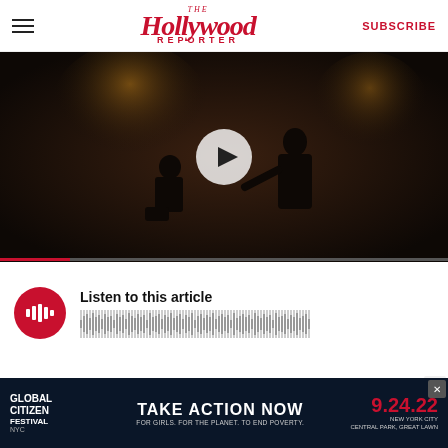The Hollywood Reporter | SUBSCRIBE
[Figure (screenshot): Dark video thumbnail showing two silhouetted figures in a dimly lit ornate room, with a play button overlay]
[Figure (other): Audio player with red circular play icon showing waveform bars and text 'Listen to this article']
As Game of Thrones rushes toward the finish line,
[Figure (other): Global Citizen Festival NYC advertisement banner: TAKE ACTION NOW, FOR GIRLS. FOR THE PLANET. TO END POVERTY. 9.24.22 NEW YORK CITY CENTRAL PARK, GREAT LAWN]